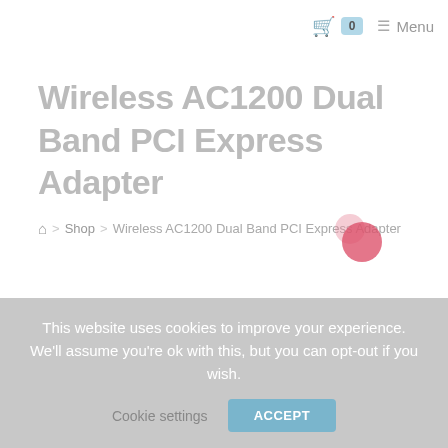0  Menu
Wireless AC1200 Dual Band PCI Express Adapter
Home > Shop > Wireless AC1200 Dual Band PCI Express Adapter
100%
< Previous Product    Next Product >
This website uses cookies to improve your experience. We'll assume you're ok with this, but you can opt-out if you wish.
Cookie settings    ACCEPT